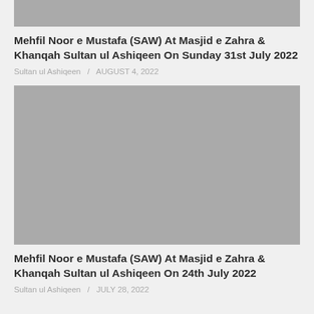[Figure (photo): Gray placeholder image at top of page, partially cropped]
Mehfil Noor e Mustafa (SAW) At Masjid e Zahra & Khanqah Sultan ul Ashiqeen On Sunday 31st July 2022
Sultan ul Ashiqeen  /  AUGUST 4, 2022
[Figure (photo): Large gray placeholder image for second article]
Mehfil Noor e Mustafa (SAW) At Masjid e Zahra & Khanqah Sultan ul Ashiqeen On 24th July 2022
Sultan ul Ashiqeen  /  JULY 28, 2022